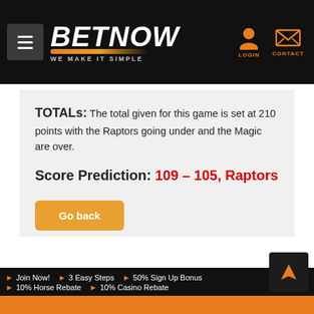BETNOW — WE MAKE IT SIMPLE
TOTALs: The total given for this game is set at 210 points with the Raptors going under and the Magic are over.
Score Prediction: 109 – 105, Raptors
Go back
Join Now! | 3 Easy Steps | 50% Sign Up Bonus | 10% Horse Rebate | 10% Casino Rebate